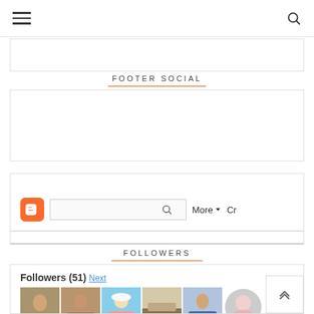≡  [search icon]
[Figure (screenshot): Empty bordered content box (partially visible at top)]
FOOTER SOCIAL
[Figure (screenshot): Empty bordered content box for Footer Social section]
[Figure (screenshot): Blogger navigation bar with orange Blogger icon, search input, More dropdown, and Cr text]
FOLLOWERS
[Figure (screenshot): Followers widget showing 51 followers with Next link and two rows of avatar thumbnails]